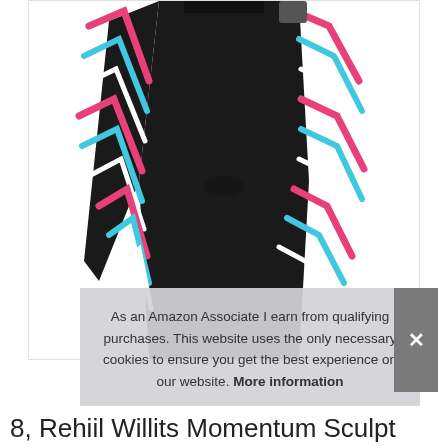[Figure (photo): Product photo of black athletic leggings with colorful pink, teal, and white zigzag/stripe pattern panels on the sides. The image shows the lower body and legs wearing the leggings on a white background.]
As an Amazon Associate I earn from qualifying purchases. This website uses the only necessary cookies to ensure you get the best experience on our website. More information
8, Kerhil Willits Momentum Sculpt